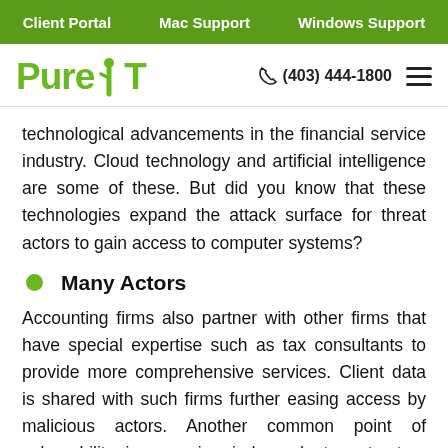Client Portal   Mac Support   Windows Support
Pure IT  (403) 444-1800
technological advancements in the financial service industry. Cloud technology and artificial intelligence are some of these. But did you know that these technologies expand the attack surface for threat actors to gain access to computer systems?
Many Actors
Accounting firms also partner with other firms that have special expertise such as tax consultants to provide more comprehensive services. Client data is shared with such firms further easing access by malicious actors. Another common point of vulnerability is engaging independent contractors via remote access. If tight security measures aren't